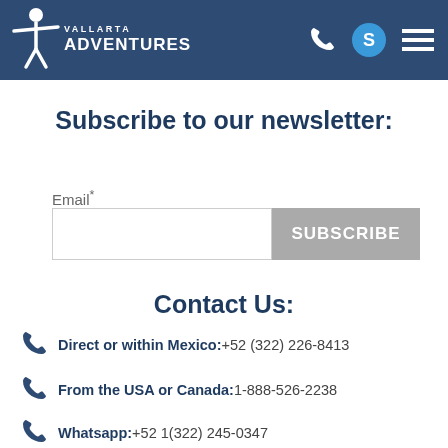[Figure (logo): Vallarta Adventures logo with white figure and text on dark blue header background, plus phone, account, and menu icons on right]
Subscribe to our newsletter:
Email*
SUBSCRIBE (button)
Contact Us:
Direct or within Mexico: +52 (322) 226-8413
From the USA or Canada: 1-888-526-2238
Whatsapp: +52 1(322) 245-0347